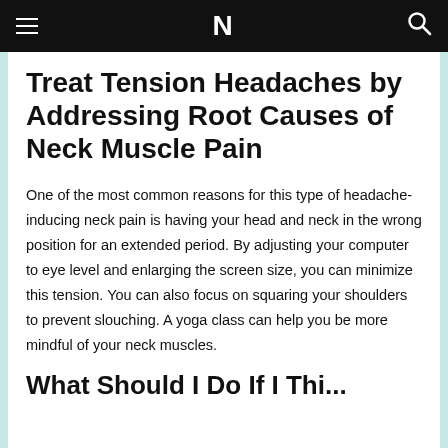N
Treat Tension Headaches by Addressing Root Causes of Neck Muscle Pain
One of the most common reasons for this type of headache-inducing neck pain is having your head and neck in the wrong position for an extended period. By adjusting your computer to eye level and enlarging the screen size, you can minimize this tension. You can also focus on squaring your shoulders to prevent slouching. A yoga class can help you be more mindful of your neck muscles.
What Should I Do If I Thi...